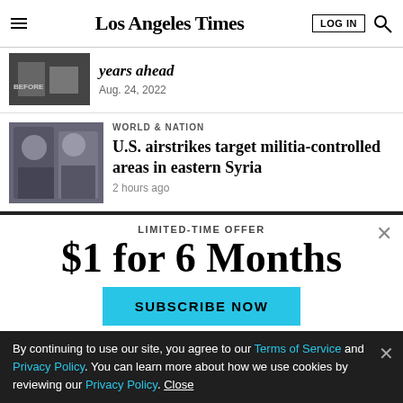Los Angeles Times
[Figure (photo): Partial photo of a scene with signage visible, top article image]
years ahead
Aug. 24, 2022
[Figure (photo): Two men in suits walking together at a diplomatic meeting]
WORLD & NATION
U.S. airstrikes target militia-controlled areas in eastern Syria
2 hours ago
LIMITED-TIME OFFER
$1 for 6 Months
SUBSCRIBE NOW
By continuing to use our site, you agree to our Terms of Service and Privacy Policy. You can learn more about how we use cookies by reviewing our Privacy Policy. Close